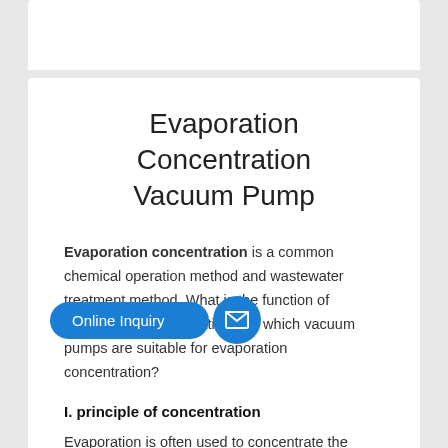Evaporation Concentration Vacuum Pump
Evaporation concentration is a common chemical operation method and wastewater treatment method. What is the function of evaporation concentration and which vacuum pumps are suitable for evaporation concentration?
I. principle of concentration
Evaporation is often used to concentrate the solution to a certain concentration, making other processes more economical and reasonable.
Concentration refers to the evaporation of the solvent to